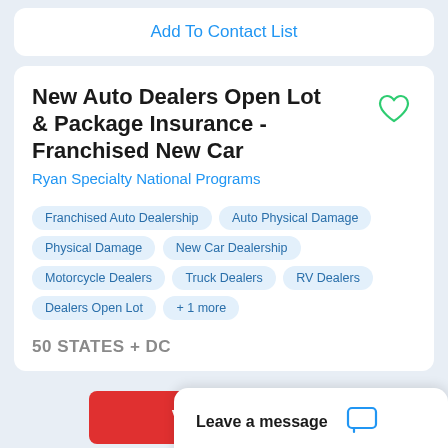Add To Contact List
New Auto Dealers Open Lot & Package Insurance - Franchised New Car
Ryan Specialty National Programs
Franchised Auto Dealership
Auto Physical Damage
Physical Damage
New Car Dealership
Motorcycle Dealers
Truck Dealers
RV Dealers
Dealers Open Lot
+ 1 more
50 STATES + DC
View Listing
Add
Leave a message